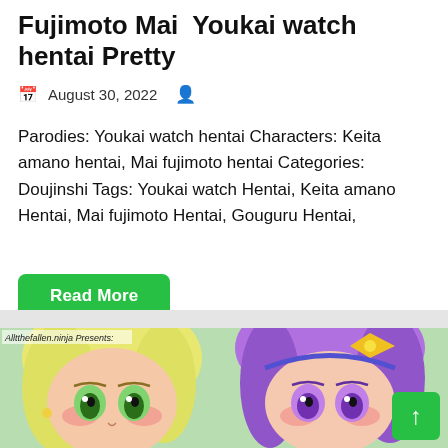Fujimoto Mai  Youkai watch hentai Pretty
August 30, 2022
Parodies: Youkai watch hentai Characters: Keita amano hentai, Mai fujimoto hentai Categories: Doujinshi Tags: Youkai watch Hentai, Keita amano Hentai, Mai fujimoto Hentai, Gouguru Hentai,
Read More
[Figure (illustration): Anime illustration showing two female characters close-up: one with blonde hair and green eyes, another with purple hair and purple eyes, with text 'Alltthefallen.ninja Presents:' at top left]